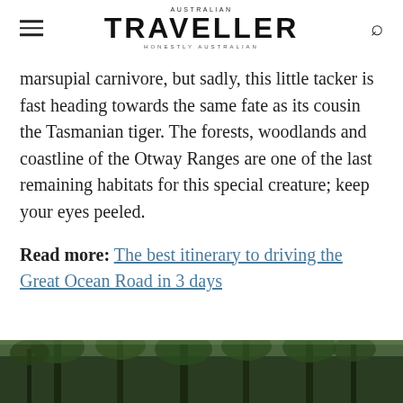AUSTRALIAN TRAVELLER | HONESTLY AUSTRALIAN
marsupial carnivore, but sadly, this little tacker is fast heading towards the same fate as its cousin the Tasmanian tiger. The forests, woodlands and coastline of the Otway Ranges are one of the last remaining habitats for this special creature; keep your eyes peeled.
Read more: The best itinerary to driving the Great Ocean Road in 3 days
[Figure (photo): Looking up through tall forest trees with green canopy, bottom portion of image visible]